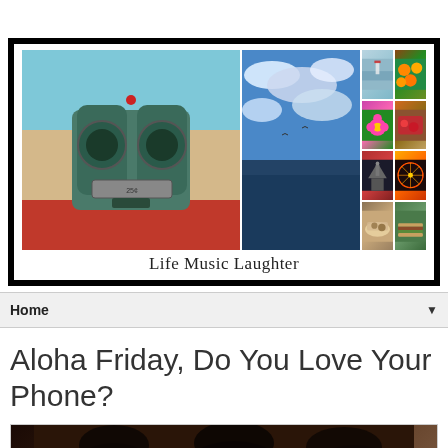[Figure (photo): Blog header banner for 'Life Music Laughter' showing a photo collage with a coin-operated binocular viewer on a beach, sky with clouds, a town view, flowers, a ferris wheel, food, and other lifestyle photos. Black border frame around the collage with 'Life Music Laughter' text below.]
Home ▼
Aloha Friday, Do You Love Your Phone?
[Figure (photo): Partial view of an image at the bottom of the page, showing dark silhouetted figures.]